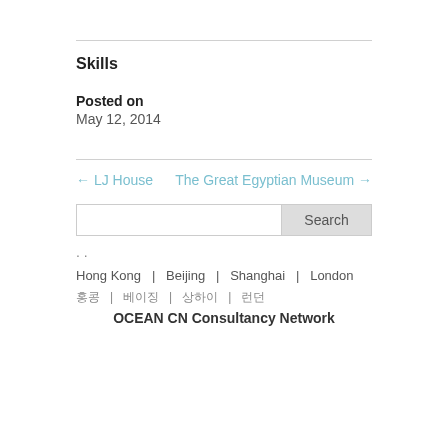Skills
Posted on
May 12, 2014
← LJ House
The Great Egyptian Museum →
Search
. .
Hong Kong  |  Beijing  |  Shanghai  |  London
홍콩  |  베이징  |  상하이  |  런던
OCEAN CN Consultancy Network